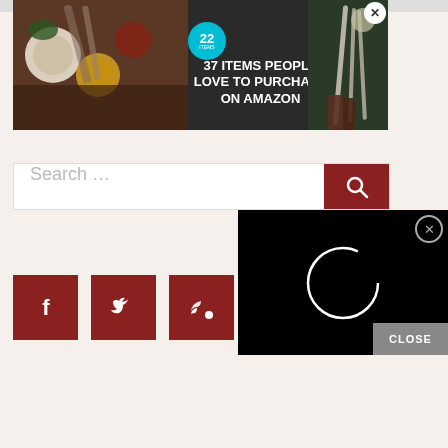[Figure (screenshot): Advertisement banner showing '37 ITEMS PEOPLE LOVE TO PURCHASE ON AMAZON' with teal badge showing '22', food/knife imagery on dark background, with X close button]
[Figure (screenshot): Search bar with placeholder text 'Search ...' and dark red search button with magnifying glass icon]
[Figure (screenshot): Social media icon buttons: Facebook (f), Twitter (bird), RSS feed icons, all in dark red square tiles]
[Figure (screenshot): Video player overlay on black background showing loading spinner circle, with X close button and CLOSE bar at bottom right]